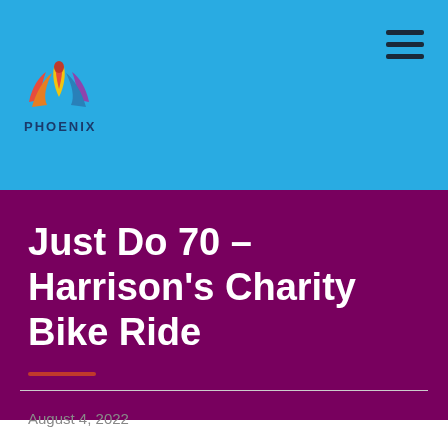PHOENIX
Just Do 70 – Harrison's Charity Bike Ride
August 4, 2022